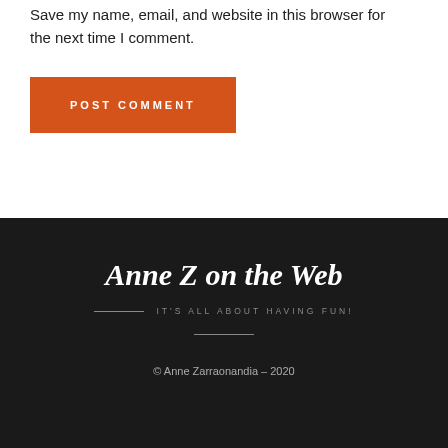Save my name, email, and website in this browser for the next time I comment.
POST COMMENT
Anne Z on the Web
IT'S ALL ABOUT HAVING FUN!
© Anne Zarraonandia – 2020